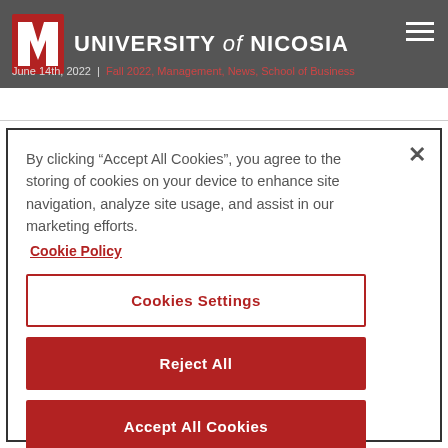University of Nicosia
June 14th, 2022 | Fall 2022, Management, News, School of Business
By clicking “Accept All Cookies”, you agree to the storing of cookies on your device to enhance site navigation, analyze site usage, and assist in our marketing efforts.
Cookie Policy
Cookies Settings
Reject All
Accept All Cookies